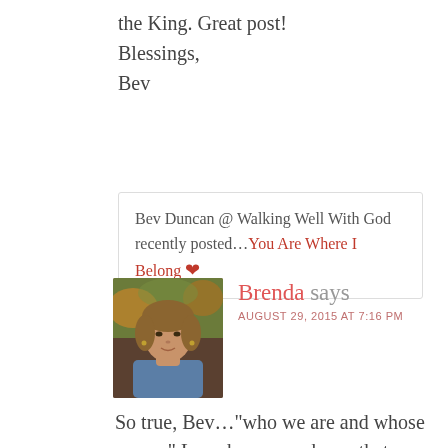the King. Great post!
Blessings,
Bev
Bev Duncan @ Walking Well With God recently posted…You Are Where I Belong 🔗
Reply
[Figure (photo): Headshot of a woman named Brenda, outdoors background with autumn colors, wearing a blue shirt]
Brenda says
AUGUST 29, 2015 AT 7:16 PM
So true, Bev…"who we are and whose we are" Love how you phrase that